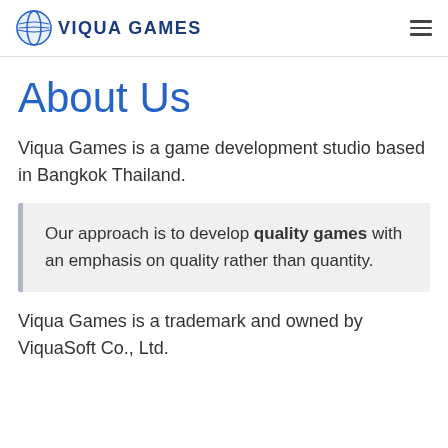VIQUA GAMES
About Us
Viqua Games is a game development studio based in Bangkok Thailand.
Our approach is to develop quality games with an emphasis on quality rather than quantity.
Viqua Games is a trademark and owned by ViquaSoft Co., Ltd.